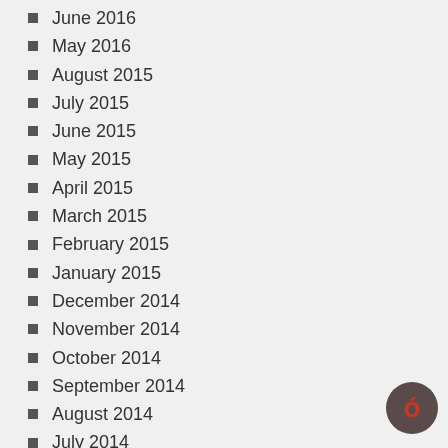June 2016
May 2016
August 2015
July 2015
June 2015
May 2015
April 2015
March 2015
February 2015
January 2015
December 2014
November 2014
October 2014
September 2014
August 2014
July 2014
June 2014
May 2014
April 2014